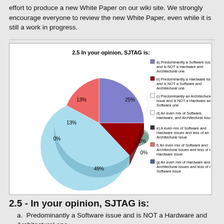effort to produce a new White Paper on our wiki site. We strongly encourage everyone to review the new White Paper, even while it is still a work in progress.
[Figure (pie-chart): 2.5 In your opinion, SJTAG is:]
2.5 - In your opinion, SJTAG is:
a. Predominantly a Software issue and is NOT a Hardware and Architectural one
b. Predominantly a Hardware issue and is NOT a Software and Architectural one